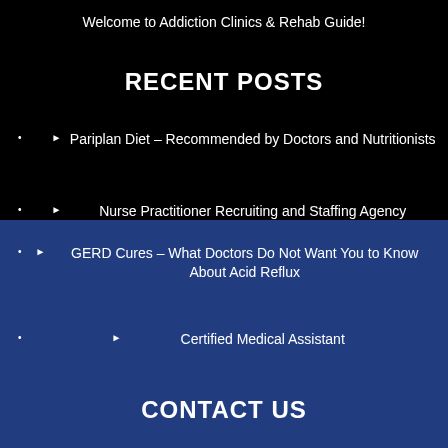Welcome to Addiction Clinics & Rehab Guide!
RECENT POSTS
Pariplan Diet – Recommended by Doctors and Nutritionists
Nurse Practitioner Recruiting and Staffing Agency
GERD Cures – What Doctors Do Not Want You to Know About Acid Reflux
Certified Medical Assistant
CONTACT US